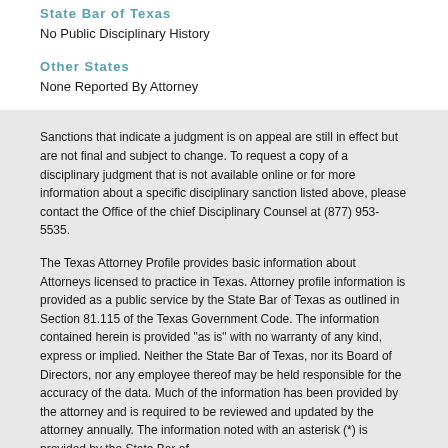State Bar of Texas
No Public Disciplinary History
Other States
None Reported By Attorney
Sanctions that indicate a judgment is on appeal are still in effect but are not final and subject to change. To request a copy of a disciplinary judgment that is not available online or for more information about a specific disciplinary sanction listed above, please contact the Office of the chief Disciplinary Counsel at (877) 953-5535.
The Texas Attorney Profile provides basic information about Attorneys licensed to practice in Texas. Attorney profile information is provided as a public service by the State Bar of Texas as outlined in Section 81.115 of the Texas Government Code. The information contained herein is provided "as is" with no warranty of any kind, express or implied. Neither the State Bar of Texas, nor its Board of Directors, nor any employee thereof may be held responsible for the accuracy of the data. Much of the information has been provided by the attorney and is required to be reviewed and updated by the attorney annually. The information noted with an asterisk (*) is provided by the State Bar of